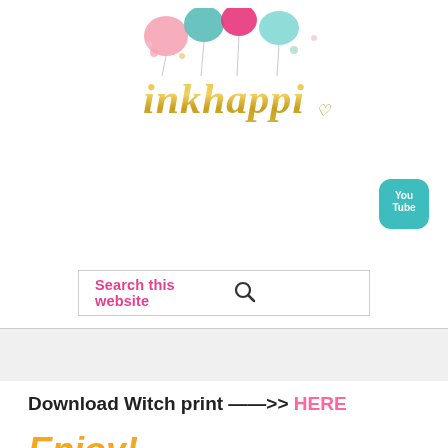[Figure (logo): inkhappi logo with colorful balloons and gold script text]
[Figure (logo): YouTube icon button (teal rounded square with You Tube text)]
Search this website
Download Witch print ——>> HERE
Enjoy!
[Figure (photo): Partial view of a Halloween printable with free halloween text on dark wood background and a witch silhouette on an orange polka dot circle with black and white striped border]